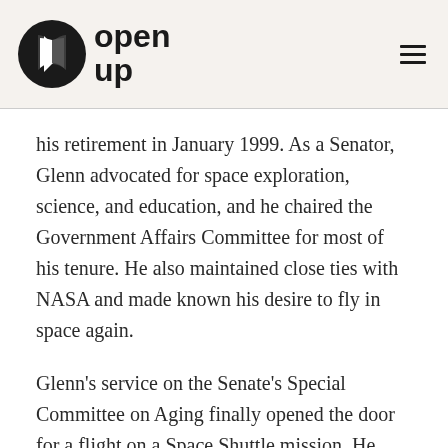open up
his retirement in January 1999. As a Senator, Glenn advocated for space exploration, science, and education, and he chaired the Government Affairs Committee for most of his tenure. He also maintained close ties with NASA and made known his desire to fly in space again.
Glenn’s service on the Senate’s Special Committee on Aging finally opened the door for a flight on a Space Shuttle mission. He proposed to NASA the benefit of flying an elderly person, because some of the bodily effects of spaceflight are similar to the bodily effects of